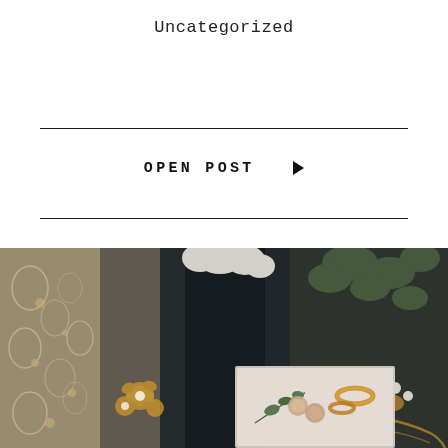Uncategorized
OPEN POST ▶
[Figure (photo): Wedding flat lay photo showing lace bridal fabric, gold floral hair accessories, white flowers, greenery bouquet, wedding rings, pearl earrings, and invitation card on dark background]